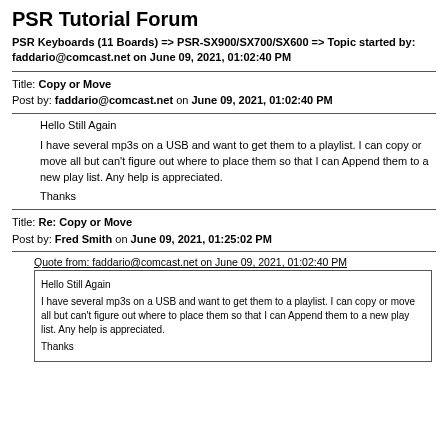PSR Tutorial Forum
PSR Keyboards (11 Boards) => PSR-SX900/SX700/SX600 => Topic started by: faddario@comcast.net on June 09, 2021, 01:02:40 PM
Title: Copy or Move
Post by: faddario@comcast.net on June 09, 2021, 01:02:40 PM
Hello Still Again

I have several mp3s on a USB and want to get them to a playlist. I can copy or move all but can't figure out where to place them so that I can Append them to a new play list. Any help is appreciated.

Thanks
Title: Re: Copy or Move
Post by: Fred Smith on June 09, 2021, 01:25:02 PM
Quote from: faddario@comcast.net on June 09, 2021, 01:02:40 PM
Hello Still Again

I have several mp3s on a USB and want to get them to a playlist. I can copy or move all but can't figure out where to place them so that I can Append them to a new play list. Any help is appreciated.

Thanks